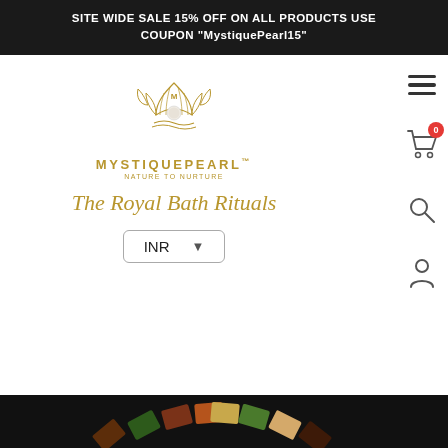SITE WIDE SALE 15% OFF ON ALL PRODUCTS USE COUPON "MystiquePearl15"
[Figure (logo): MystiquePearl logo with golden shell, pearl, brand name MYSTIQUEPEARL TM, tagline NATURE TO NURTURE, and cursive text The Royal Bath Rituals]
INR
[Figure (photo): Arrangement of various soap bars in different colors arranged in a fan/arc pattern on dark background, bottom portion visible]